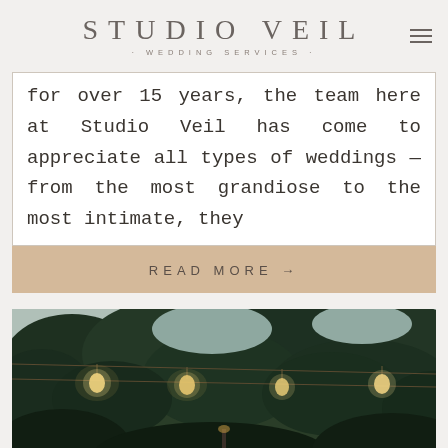STUDIO VEIL · WEDDING SERVICES
for over 15 years, the team here at Studio Veil has come to appreciate all types of weddings — from the most grandiose to the most intimate, they
READ MORE →
[Figure (photo): Outdoor garden scene at dusk with string lights hanging among lush green trees and foliage, warm amber glow from Edison bulbs]